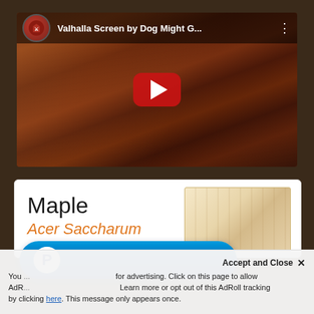[Figure (screenshot): YouTube video thumbnail showing 'Valhalla Screen by Dog Might G...' with a YouTube play button overlay. The thumbnail shows wooden board game accessories/screens in dark reddish-brown wood. The video player header shows a channel avatar icon and the video title.]
[Figure (screenshot): Wood species information card showing 'Maple / Acer Saccharum' with a light-colored wood grain sample image on the right side.]
Maple
Acer Saccharum
Accept and Close ✕
You ... for advertising. Click on this page to allow AdR... Learn more or opt out of this AdRoll tracking by clicking here. This message only appears once.